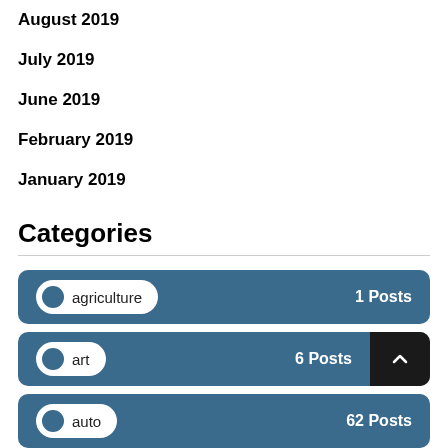August 2019
July 2019
June 2019
February 2019
January 2019
Categories
agriculture  1 Posts
art  6 Posts
auto  62 Posts